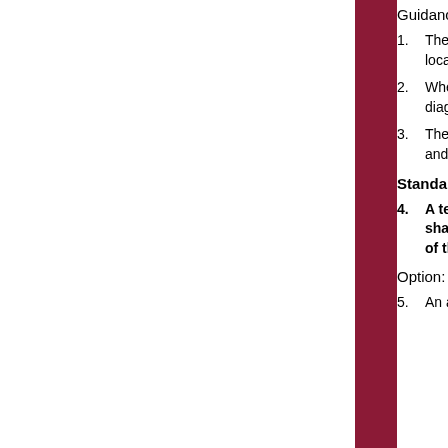Guidance:
1. The guide signs should indicate that the ramp is open, and where the temporary ramp is located. However, if the ramp is closed, guide signs should indicate that the ramp is closed.
2. When the exit ramp is closed, a black-on-orange EXIT CLOSED panel should be placed diagonally across the interchange/intersection guide signs.
3. The design criteria contained in the AASHTO “Policy on the Geometric Design of Highways and Streets” should be used for determining the alignment (see Section 1A.11).
Standard:
4. A temporary EXIT sign shall be located in the temporary gore. For better visibility, it shall be mounted a minimum of 2.1 m (7 ft) from the pavement surface to the bottom of the sign.
Option:
5. An alternative procedure that may be...